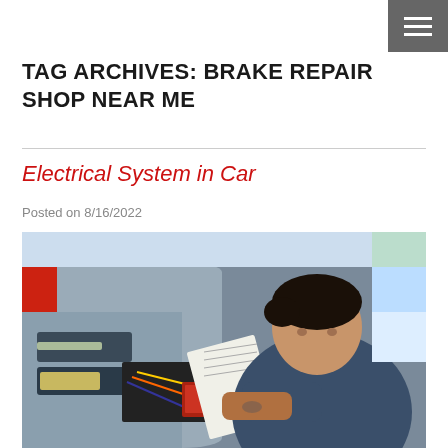TAG ARCHIVES: BRAKE REPAIR SHOP NEAR ME
Electrical System in Car
Posted on 8/16/2022
[Figure (photo): A mechanic working on a car's dashboard electrical system, holding a paper document and examining wiring components underneath the dashboard panel of a red car.]